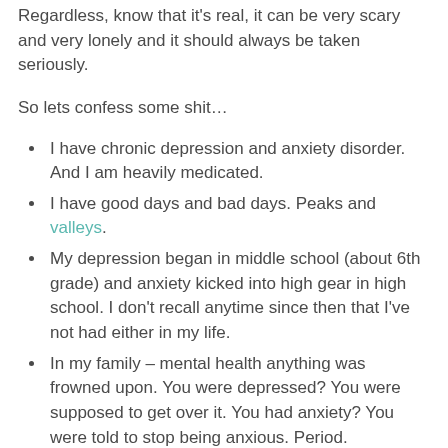Regardless, know that it's real, it can be very scary and very lonely and it should always be taken seriously.
So lets confess some shit…
I have chronic depression and anxiety disorder. And I am heavily medicated.
I have good days and bad days. Peaks and valleys.
My depression began in middle school (about 6th grade) and anxiety kicked into high gear in high school. I don't recall anytime since then that I've not had either in my life.
In my family – mental health anything was frowned upon. You were depressed? You were supposed to get over it. You had anxiety? You were told to stop being anxious. Period.